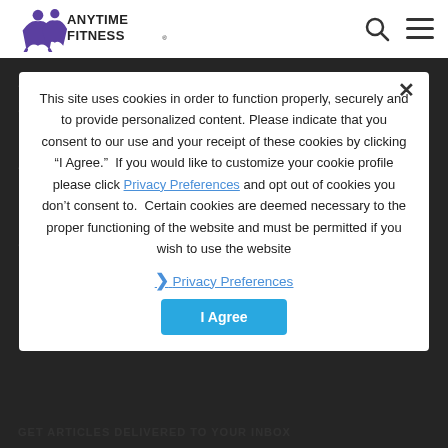Anytime Fitness
August 2019
June 2019
March 2019
April 2019
May 2019
February 2019
January 2019
December 2018
November 2018
This site uses cookies in order to function properly, securely and to provide personalized content. Please indicate that you consent to our use and your receipt of these cookies by clicking “I Agree.” If you would like to customize your cookie profile please click Privacy Preferences and opt out of cookies you don’t consent to. Certain cookies are deemed necessary to the proper functioning of the website and must be permitted if you wish to use the website
❯ Privacy Preferences
I Agree
GET ARTICLES DELIVERED TO YOUR INBOX